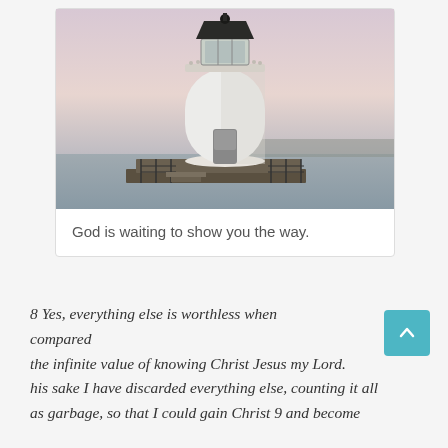[Figure (photo): Photograph of a white lighthouse with a dark cap and lantern room, situated on a waterfront pier with metal railings, against a pastel pink and grey twilight sky, with water and distant shoreline visible.]
God is waiting to show you the way.
8 Yes, everything else is worthless when compared the infinite value of knowing Christ Jesus my Lord. his sake I have discarded everything else, counting it all as garbage, so that I could gain Christ 9 and become